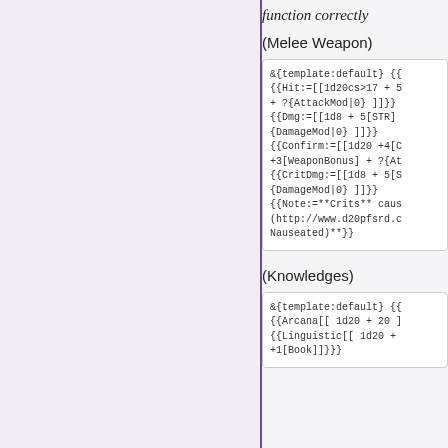function correctly
(Melee Weapon)
&{template:default} {{
{{Hit:=[[1d20cs>17 + 5
+ ?{AttackMod|0} ]]}}
{{Dmg:=[[1d8 + 5[STR]
{DamageMod|0} ]]}}
{{Confirm:=[[1d20 +4[C
+3[WeaponBonus] + ?{At
{{CritDmg:=[[1d8 + 5[S
{DamageMod|0} ]]}}
{{Note:=**Crits** caus
(http://www.d20pfsrd.c
Nauseated)**}}
(Knowledges)
&{template:default} {{
{{Arcana[[ 1d20 + 20 ]
{{Linguistic[[ 1d20 +
+1[Book]]}}